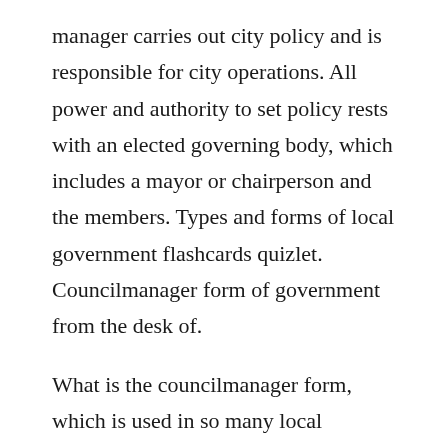manager carries out city policy and is responsible for city operations. All power and authority to set policy rests with an elected governing body, which includes a mayor or chairperson and the members. Types and forms of local government flashcards quizlet. Councilmanager form of government from the desk of.
What is the councilmanager form, which is used in so many local governments. Councilmanager government form also is used in both county and city governments in